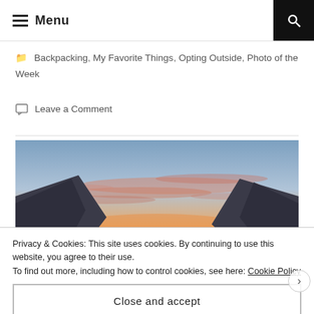Menu
Backpacking, My Favorite Things, Opting Outside, Photo of the Week
Leave a Comment
[Figure (photo): Sunset landscape photo showing mountain silhouettes on either side framing a dramatic sky with orange and pink clouds]
Privacy & Cookies: This site uses cookies. By continuing to use this website, you agree to their use.
To find out more, including how to control cookies, see here: Cookie Policy
Close and accept